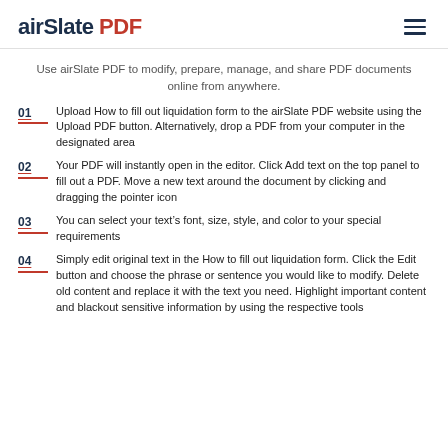airSlate PDF
Use airSlate PDF to modify, prepare, manage, and share PDF documents online from anywhere.
01 Upload How to fill out liquidation form to the airSlate PDF website using the Upload PDF button. Alternatively, drop a PDF from your computer in the designated area
02 Your PDF will instantly open in the editor. Click Add text on the top panel to fill out a PDF. Move a new text around the document by clicking and dragging the pointer icon
03 You can select your text’s font, size, style, and color to your special requirements
04 Simply edit original text in the How to fill out liquidation form. Click the Edit button and choose the phrase or sentence you would like to modify. Delete old content and replace it with the text you need. Highlight important content and blackout sensitive information by using the respective tools